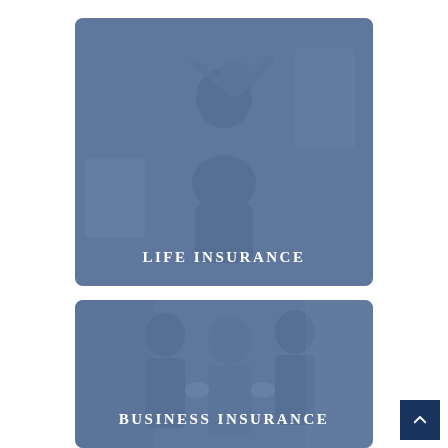[Figure (photo): Family portrait with blue overlay — mother and child playing piggyback in a living room, with rounded-rectangle frame. Text overlay reads LIFE INSURANCE.]
[Figure (photo): Business people shaking hands / greeting scene with blue overlay — two men and a woman in an office or store setting. Text overlay reads BUSINESS INSURANCE.]